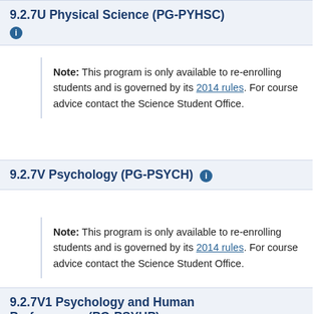9.2.7U Physical Science (PG-PYHSC)
Note: This program is only available to re-enrolling students and is governed by its 2014 rules. For course advice contact the Science Student Office.
9.2.7V Psychology (PG-PSYCH)
Note: This program is only available to re-enrolling students and is governed by its 2014 rules. For course advice contact the Science Student Office.
9.2.7V1 Psychology and Human Performance (PG-PSYHP)